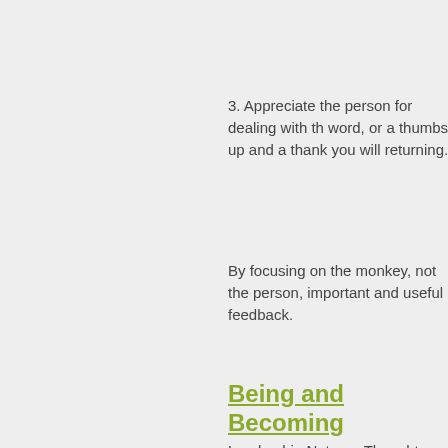3. Appreciate the person for dealing with the word, or a thumbs up and a thank you will returning.
By focusing on the monkey, not the person, important and useful feedback.
Being and Becoming
Leadership Notes -- Thoughts on Leadership Organizations
Word count this issue: 269
Estimated reading time:   1.5 minutes

I was working with my editor recently, exploring the question 'who am I.' This leaders. For example, in the Hebrew B Moses asks 'who are you?'. The re